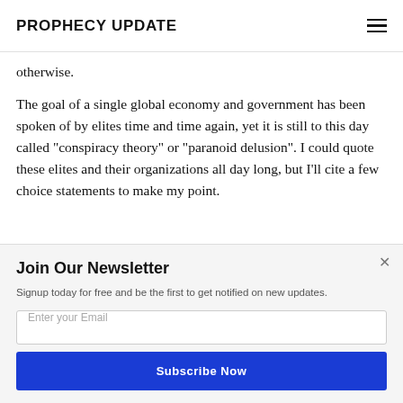PROPHECY UPDATE
otherwise.
The goal of a single global economy and government has been spoken of by elites time and time again, yet it is still to this day called "conspiracy theory" or "paranoid delusion". I could quote these elites and their organizations all day long, but I'll cite a few choice statements to make my point.
Join Our Newsletter
Signup today for free and be the first to get notified on new updates.
Subscribe Now